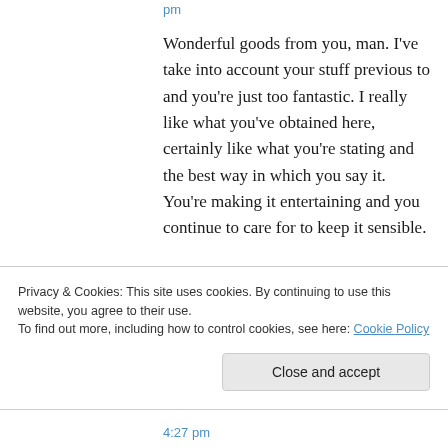pm
Wonderful goods from you, man. I've take into account your stuff previous to and you're just too fantastic. I really like what you've obtained here, certainly like what you're stating and the best way in which you say it. You're making it entertaining and you continue to care for to keep it sensible.

I cant wait to read much more from you. That is actually a terrific
Privacy & Cookies: This site uses cookies. By continuing to use this website, you agree to their use.
To find out more, including how to control cookies, see here: Cookie Policy
Close and accept
4:27 pm